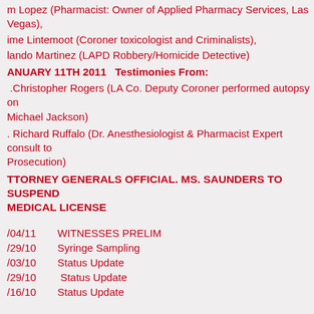m Lopez (Pharmacist: Owner of Applied Pharmacy Services, Las Vegas),
ime Lintemoot (Coroner toxicologist and Criminalists),
lando Martinez (LAPD Robbery/Homicide Detective)
ANUARY 11TH 2011   Testimonies From:
.Christopher Rogers (LA Co. Deputy Coroner performed autopsy on Michael Jackson)
. Richard Ruffalo (Dr. Anesthesiologist & Pharmacist Expert consult to Prosecution)
TTORNEY GENERALS OFFICIAL. MS. SAUNDERS TO SUSPEND MEDICAL LICENSE
/04/11   WITNESSES PRELIM
/29/10   Syringe Sampling
/03/10   Status Update
/29/10    Status Update
/16/10   Status Update